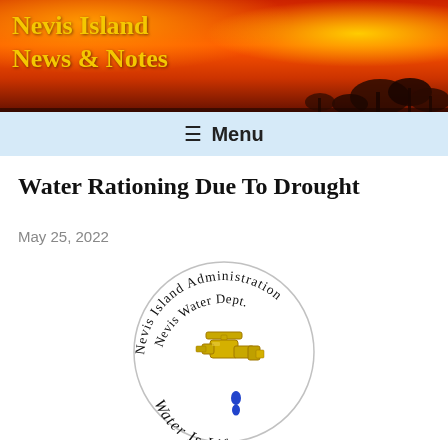Nevis Island News & Notes
≡ Menu
Water Rationing Due To Drought
May 25, 2022
[Figure (logo): Nevis Island Administration Nevis Water Dept. logo with a golden water faucet and water drops, with text 'Water Is Life' around the bottom]